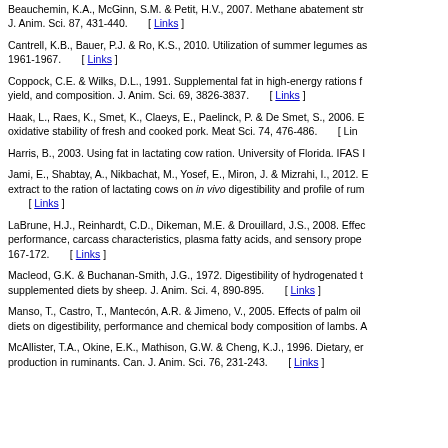Beauchemin, K.A., McGinn, S.M. & Petit, H.V., 2007. Methane abatement str... J. Anim. Sci. 87, 431-440. [ Links ]
Cantrell, K.B., Bauer, P.J. & Ro, K.S., 2010. Utilization of summer legumes as... 1961-1967. [ Links ]
Coppock, C.E. & Wilks, D.L., 1991. Supplemental fat in high-energy rations f... yield, and composition. J. Anim. Sci. 69, 3826-3837. [ Links ]
Haak, L., Raes, K., Smet, K., Claeys, E., Paelinck, P. & De Smet, S., 2006. E... oxidative stability of fresh and cooked pork. Meat Sci. 74, 476-486. [ Links ]
Harris, B., 2003. Using fat in lactating cow ration. University of Florida. IFAS ...
Jami, E., Shabtay, A., Nikbachat, M., Yosef, E., Miron, J. & Mizrahi, I., 2012. E... extract to the ration of lactating cows on in vivo digestibility and profile of rum... [ Links ]
LaBrune, H.J., Reinhardt, C.D., Dikeman, M.E. & Drouillard, J.S., 2008. Effec... performance, carcass characteristics, plasma fatty acids, and sensory prope... 167-172. [ Links ]
Macleod, G.K. & Buchanan-Smith, J.G., 1972. Digestibility of hydrogenated t... supplemented diets by sheep. J. Anim. Sci. 4, 890-895. [ Links ]
Manso, T., Castro, T., Mantecón, A.R. & Jimeno, V., 2005. Effects of palm oil... diets on digestibility, performance and chemical body composition of lambs. A...
McAllister, T.A., Okine, E.K., Mathison, G.W. & Cheng, K.J., 1996. Dietary, er... production in ruminants. Can. J. Anim. Sci. 76, 231-243. [ Links ]